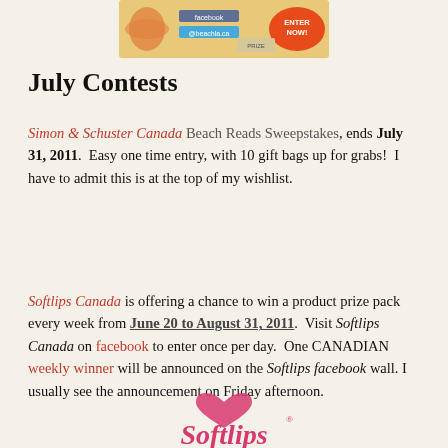[Figure (illustration): Top banner image for a beach/summer contest, partially cropped, with 'ENTER NOW!' orange button visible, starfish graphic, and social media icons]
July Contests
Simon & Schuster Canada Beach Reads Sweepstakes, ends July 31, 2011.  Easy one time entry, with 10 gift bags up for grabs!  I have to admit this is at the top of my wishlist.
Softlips Canada is offering a chance to win a product prize pack every week from June 20 to August 31, 2011.  Visit Softlips Canada on facebook to enter once per day.  One CANADIAN weekly winner will be announced on the Softlips facebook wall. I usually see the announcement on Friday afternoon.
[Figure (logo): Softlips brand logo in pink cursive script]